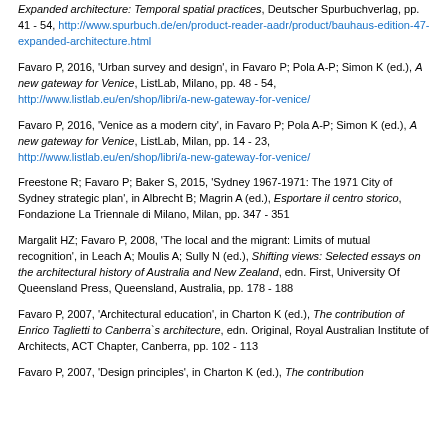Expanded architecture: Temporal spatial practices, Deutscher Spurbuchverlag, pp. 41 - 54, http://www.spurbuch.de/en/product-reader-aadr/product/bauhaus-edition-47-expanded-architecture.html
Favaro P, 2016, 'Urban survey and design', in Favaro P; Pola A-P; Simon K (ed.), A new gateway for Venice, ListLab, Milano, pp. 48 - 54, http://www.listlab.eu/en/shop/libri/a-new-gateway-for-venice/
Favaro P, 2016, 'Venice as a modern city', in Favaro P; Pola A-P; Simon K (ed.), A new gateway for Venice, ListLab, Milan, pp. 14 - 23, http://www.listlab.eu/en/shop/libri/a-new-gateway-for-venice/
Freestone R; Favaro P; Baker S, 2015, 'Sydney 1967-1971: The 1971 City of Sydney strategic plan', in Albrecht B; Magrin A (ed.), Esportare il centro storico, Fondazione La Triennale di Milano, Milan, pp. 347 - 351
Margalit HZ; Favaro P, 2008, 'The local and the migrant: Limits of mutual recognition', in Leach A; Moulis A; Sully N (ed.), Shifting views: Selected essays on the architectural history of Australia and New Zealand, edn. First, University Of Queensland Press, Queensland, Australia, pp. 178 - 188
Favaro P, 2007, 'Architectural education', in Charton K (ed.), The contribution of Enrico Taglietti to Canberra's architecture, edn. Original, Royal Australian Institute of Architects, ACT Chapter, Canberra, pp. 102 - 113
Favaro P, 2007, 'Design principles', in Charton K (ed.), The contribution